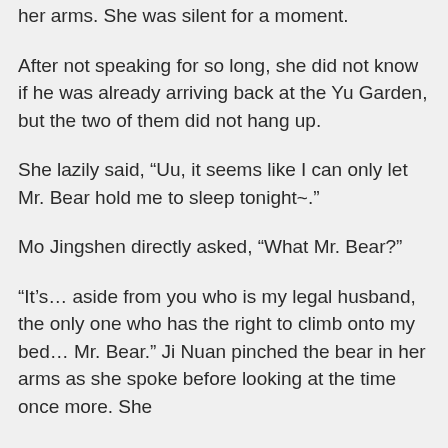her arms. She was silent for a moment.
After not speaking for so long, she did not know if he was already arriving back at the Yu Garden, but the two of them did not hang up.
She lazily said, “Uu, it seems like I can only let Mr. Bear hold me to sleep tonight~.”
Mo Jingshen directly asked, “What Mr. Bear?”
“It’s… aside from you who is my legal husband, the only one who has the right to climb onto my bed… Mr. Bear.” Ji Nuan pinched the bear in her arms as she spoke before looking at the time once more. She